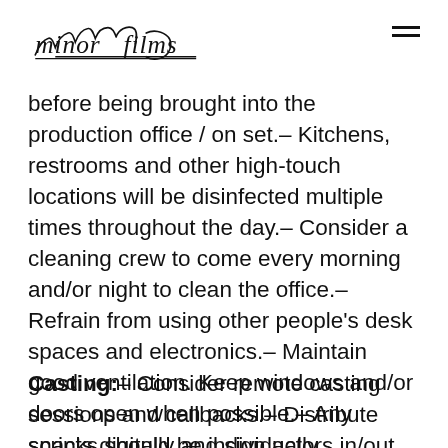minor films [logo with hamburger menu]
before being brought into the production office / on set.- Kitchens, restrooms and other high-touch locations will be disinfected multiple times throughout the day.- Consider a cleaning crew to come every morning and/or night to clean the office.- Refrain from using other people's desk spaces and electronics.- Maintain good ventilation. Keep windows and/or doors open when possible.- Any snacks should be individually packaged. NO communal bowls for sharing.
Casting:- Consider remote casting sessions and callbacks.- Distribute scripts digitally and sign actors in/out digitally if possible (or assign one person to